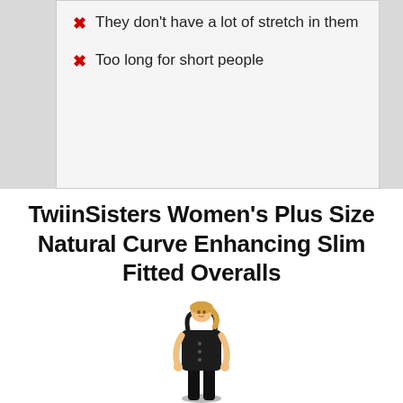✗ They don't have a lot of stretch in them
✗ Too long for short people
TwiinSisters Women's Plus Size Natural Curve Enhancing Slim Fitted Overalls
[Figure (photo): A woman with blonde hair wearing black slim-fitted overalls with button details, posing with hands in pockets against a white background.]